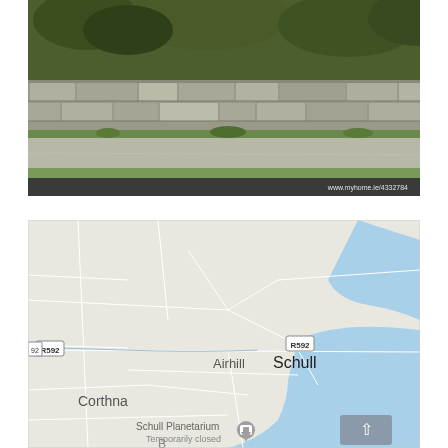[Figure (photo): Aerial or ground-level photo showing a stone wall with vegetation (ivy/shrubs) and a road/path with grass alongside it. Bottom right corner shows watermark text: www.myhome.ie/4332784]
[Figure (map): Google Maps screenshot showing the area around Schull (also labeled Airhill), County Cork, Ireland. Shows roads R592, locality labels Corthna, Airhill, Schull, Schull Planetarium (Temporarily closed), and coastal water (blue) on the right side. A back-to-top button (upward arrow) appears in the bottom right.]